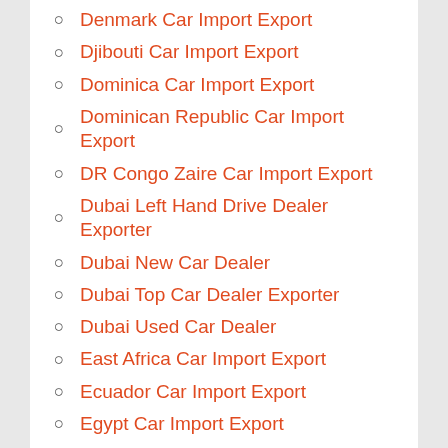Denmark Car Import Export
Djibouti Car Import Export
Dominica Car Import Export
Dominican Republic Car Import Export
DR Congo Zaire Car Import Export
Dubai Left Hand Drive Dealer Exporter
Dubai New Car Dealer
Dubai Top Car Dealer Exporter
Dubai Used Car Dealer
East Africa Car Import Export
Ecuador Car Import Export
Egypt Car Import Export
El Salvador Car Import Export
Equatorial Guinea Car Import Export
Eritrea Car Import Export
Estonia Car Import Export